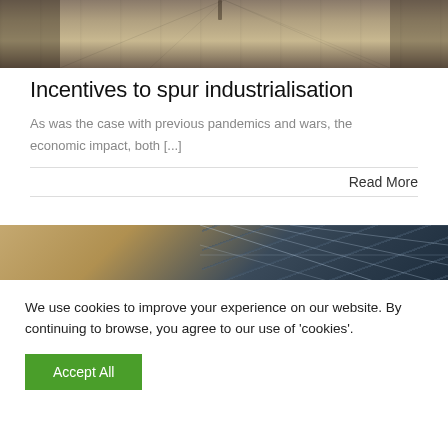[Figure (photo): Industrial warehouse or factory floor interior, aerial/perspective view with concrete floor and equipment]
Incentives to spur industrialisation
As was the case with previous pandemics and wars, the economic impact, both [...]
Read More
[Figure (photo): Solar panels angled against a warm sky background]
We use cookies to improve your experience on our website. By continuing to browse, you agree to our use of 'cookies'.
Accept All